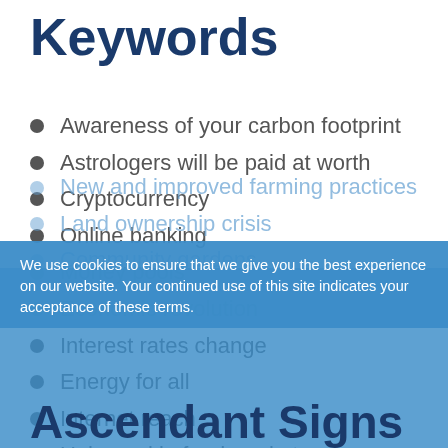Keywords
Awareness of your carbon footprint
Astrologers will be paid at worth
Cryptocurrency
Online banking
Money pools
Economic revolution
Interest rates change
Energy for all
Internet reach
Upheaval in food markets
New and improved farming practices
Land ownership crisis
Community gardens
We use cookies to ensure that we give you the best experience on our website. Your continued use of this site indicates your acceptance of these terms.
Ascendant Signs